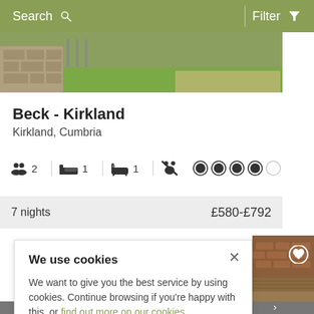Search  Filter
[Figure (photo): Outdoor property photo showing stone wall and grassy area]
Beck - Kirkland
Kirkland, Cumbria
2 guests  1 bedroom  1 bathroom  No pets  4/5 stars
7 nights  £580-£792
We use cookies
We want to give you the best service by using cookies. Continue browsing if you're happy with this, or find out more on our cookies.
[Figure (photo): Brick building exterior photo]